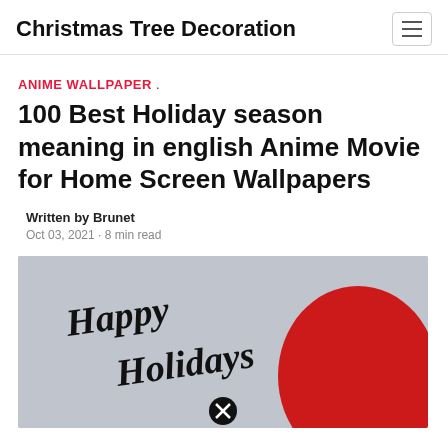Christmas Tree Decoration
ANIME WALLPAPER .
100 Best Holiday season meaning in english Anime Movie for Home Screen Wallpapers
Written by Brunet
Oct 03, 2021 · 8 min read
[Figure (photo): A holiday-themed image with cursive 'Happy Holidays' text in black over a grey background, with a person wearing a red Santa hat visible on the right side. A circular close button is overlaid at the bottom center.]